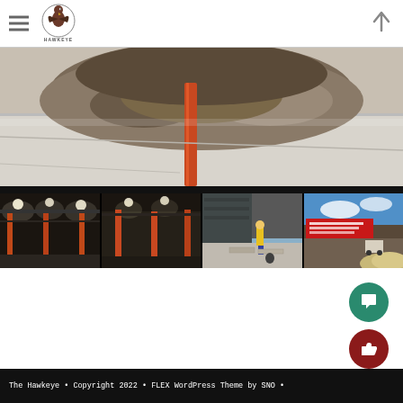The Hawkeye - navigation header with hamburger menu and logo
[Figure (photo): Construction site photo showing a large concrete floor with a pile of rubble and an orange steel support column in the foreground]
[Figure (photo): Four thumbnail construction photos: interior steel frame with lights, interior columns, workers outside on concrete, and exterior building facade with red signage]
The Hawkeye • Copyright 2022 • FLEX WordPress Theme by SNO •